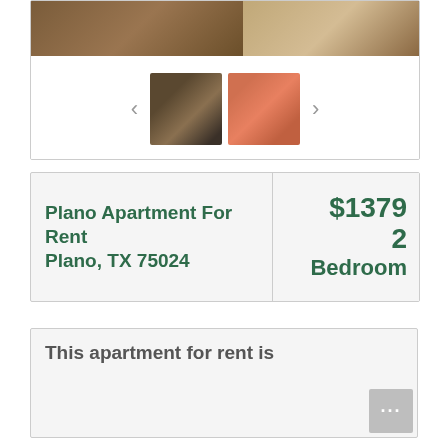[Figure (photo): Apartment interior photo gallery showing kitchen/living area with wood cabinets and rugs, with two thumbnail images below showing living room and bedroom with orange accent wall]
| Listing Info | Price/Type |
| --- | --- |
| Plano Apartment For Rent
Plano, TX 75024 | $1379
2 Bedroom |
This apartment for rent is